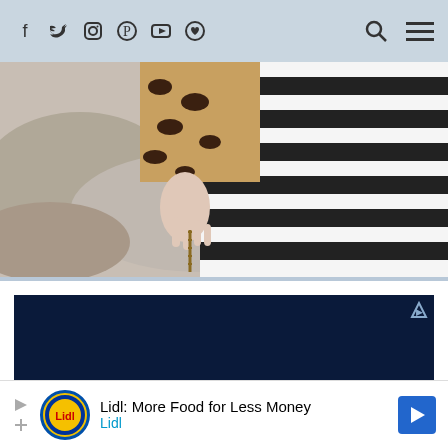Navigation bar with social icons: Facebook, Twitter, Instagram, Pinterest, YouTube, favorites; search and menu icons
[Figure (photo): Fashion photo showing person wearing black and white striped outfit with leopard print item, holding a bag, standing on rocky surface]
[Figure (other): Dark navy blue advertisement block with AdChoices icon in top right corner]
[Figure (other): Bottom banner advertisement: Lidl: More Food for Less Money - Lidl logo with play and close buttons and navigation arrow]